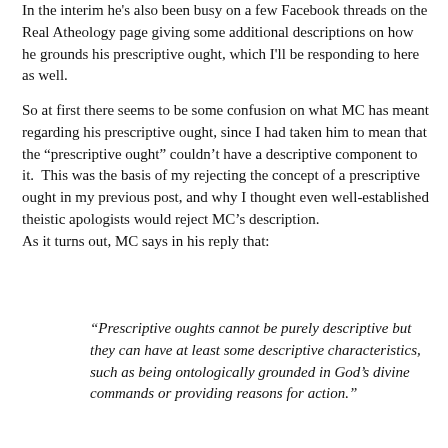In the interim he's also been busy on a few Facebook threads on the Real Atheology page giving some additional descriptions on how he grounds his prescriptive ought, which I'll be responding to here as well.
So at first there seems to be some confusion on what MC has meant regarding his prescriptive ought, since I had taken him to mean that the "prescriptive ought" couldn't have a descriptive component to it.  This was the basis of my rejecting the concept of a prescriptive ought in my previous post, and why I thought even well-established theistic apologists would reject MC's description.
As it turns out, MC says in his reply that:
“Prescriptive oughts cannot be purely descriptive but they can have at least some descriptive characteristics, such as being ontologically grounded in God’s divine commands or providing reasons for action.”